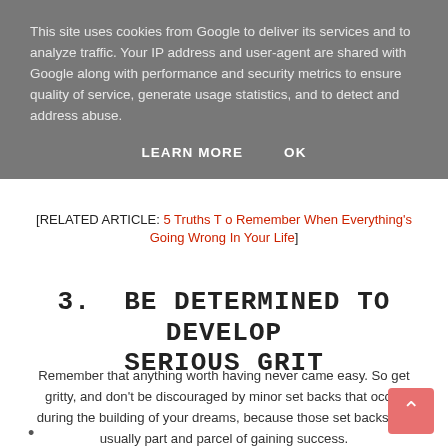This site uses cookies from Google to deliver its services and to analyze traffic. Your IP address and user-agent are shared with Google along with performance and security metrics to ensure quality of service, generate usage statistics, and to detect and address abuse.
LEARN MORE   OK
[RELATED ARTICLE: 5 Truths To Remember When Everything's Going Wrong In Your Life]
3. BE DETERMINED TO DEVELOP SERIOUS GRIT
Remember that anything worth having never came easy. So get gritty, and don't be discouraged by minor set backs that occur during the building of your dreams, because those set backs are usually part and parcel of gaining success.